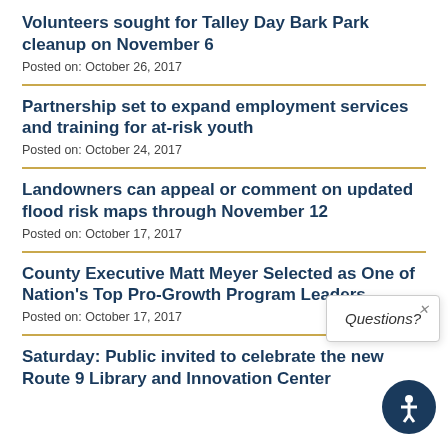Volunteers sought for Talley Day Bark Park cleanup on November 6
Posted on: October 26, 2017
Partnership set to expand employment services and training for at-risk youth
Posted on: October 24, 2017
Landowners can appeal or comment on updated flood risk maps through November 12
Posted on: October 17, 2017
County Executive Matt Meyer Selected as One of Nation's Top Pro-Growth Program Leaders
Posted on: October 17, 2017
Saturday: Public invited to celebrate the new Route 9 Library and Innovation Center